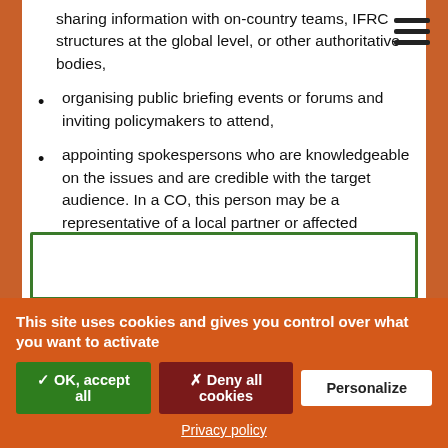sharing information with on-country teams, IFRC structures at the global level, or other authoritative bodies,
organising public briefing events or forums and inviting policymakers to attend,
appointing spokespersons who are knowledgeable on the issues and are credible with the target audience. In a CO, this person may be a representative of a local partner or affected people-led organization. If no partner can be identified, the Country Director, Advocacy Advisor or another member of the response team designated for that purpose can step in, but this is not preferred.
[Figure (other): Green-bordered box partially visible at bottom of content area]
This site uses cookies and gives you control over what you want to activate
✓ OK, accept all | ✗ Deny all cookies | Personalize
Privacy policy